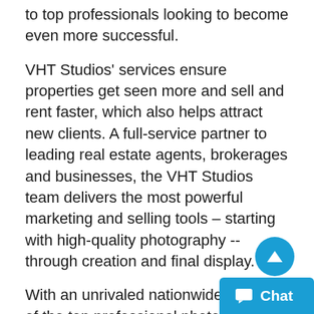to top professionals looking to become even more successful.
VHT Studios' services ensure properties get seen more and sell and rent faster, which also helps attract new clients. A full-service partner to leading real estate agents, brokerages and businesses, the VHT Studios team delivers the most powerful marketing and selling tools – starting with high-quality photography -- through creation and final display.
With an unrivaled nationwide network of the top professional photographers and image specialists, VHT Studios' programs are an affordable, valuable investment for listings to be seen whenever and wherever homebuyers search, and for brokers looking to recruit and retain top agents. Based in Rosem[ont], Illinois, VHT Studios has photo[graphed ov]er 10 m[illi]on rooms, helped more than 200,[000 real es]ate and